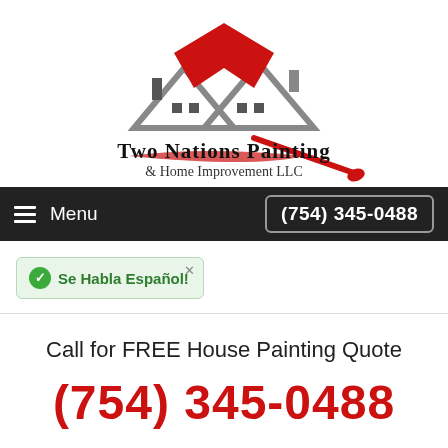[Figure (logo): Two Nations Painting & Home Improvement LLC logo: two house outlines with red chevron roof design, paintbrush, and company name text]
Menu   (754) 345-0488
Se Habla Español!
Call for FREE House Painting Quote
(754) 345-0488